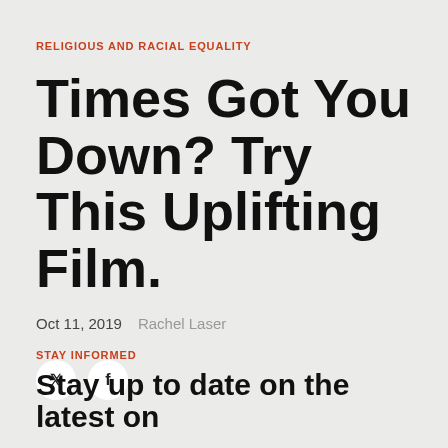RELIGIOUS AND RACIAL EQUALITY
Times Got You Down? Try This Uplifting Film.
Oct 11, 2019   Rachel Laser
[Figure (other): Social media share icons: Twitter (bird icon) and Facebook (f icon) as circular white buttons]
STAY INFORMED
Stay up to date on the latest on